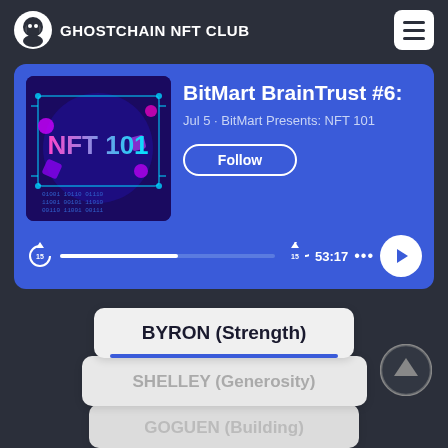GHOSTCHAIN NFT CLUB
[Figure (screenshot): Podcast player card showing BitMart BrainTrust #6 episode with NFT 101 thumbnail, Follow button, and media controls showing 53:17 duration]
BitMart BrainTrust #6:
Jul 5 · BitMart Presents: NFT 101
Follow
53:17
BYRON (Strength)
SHELLEY (Generosity)
GOGUEN (Building)